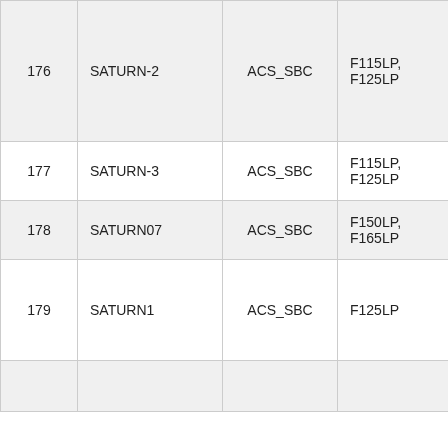|  | Name | Instrument | Filters |  |
| --- | --- | --- | --- | --- |
| 176 | SATURN-2 | ACS_SBC | F115LP, F125LP | 158 |
| 177 | SATURN-3 | ACS_SBC | F115LP, F125LP | 158 |
| 178 | SATURN07 | ACS_SBC | F150LP, F165LP | 145 |
| 179 | SATURN1 | ACS_SBC | F125LP | 133 |